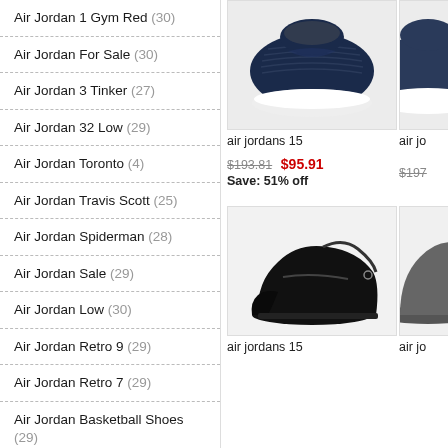Air Jordan 1 Gym Red (30)
Air Jordan For Sale (30)
Air Jordan 3 Tinker (27)
Air Jordan 32 Low (29)
Air Jordan Toronto (4)
Air Jordan Travis Scott (25)
Air Jordan Spiderman (28)
Air Jordan Sale (29)
Air Jordan Low (30)
Air Jordan Retro 9 (29)
Air Jordan Retro 7 (29)
Air Jordan Basketball Shoes (29)
Air Jordan Retro 8 (30)
Air Jordan 1 Mid Se (27)
Air Jordan 1 Retro High Og Origin Story (27)
[Figure (photo): Air Jordan 15 sneaker in navy/white colorway, top view]
air jordans 15
$193.81  $95.91  Save: 51% off
[Figure (photo): Air Jordan 15 sneaker in black colorway, side view]
air jordans 15